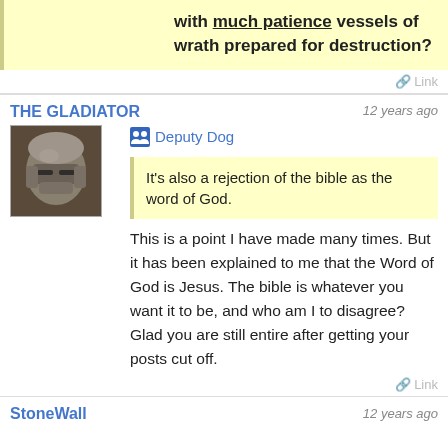with much patience vessels of wrath prepared for destruction?
Link
THE GLADIATOR   12 years ago
Deputy Dog
It's also a rejection of the bible as the word of God.
This is a point I have made many times. But it has been explained to me that the Word of God is Jesus. The bible is whatever you want it to be, and who am I to disagree? Glad you are still entire after getting your posts cut off.
Link
StoneWall   12 years ago